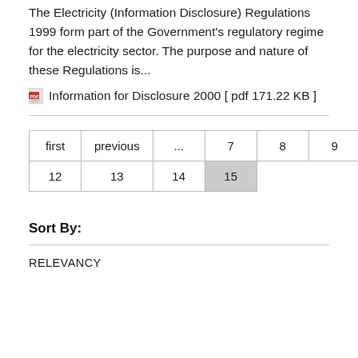The Electricity (Information Disclosure) Regulations 1999 form part of the Government's regulatory regime for the electricity sector. The purpose and nature of these Regulations is...
Information for Disclosure 2000 [ pdf 171.22 KB ]
| first | previous | ... | 7 | 8 | 9 | 10 | 11 |
| 12 | 13 | 14 | 15 |
Sort By:
RELEVANCY